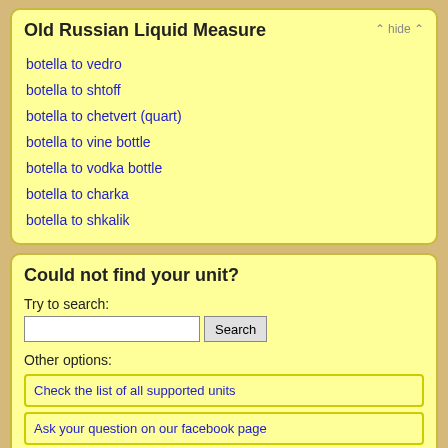Old Russian Liquid Measure
botella to vedro
botella to shtoff
botella to chetvert (quart)
botella to vine bottle
botella to vodka bottle
botella to charka
botella to shkalik
Could not find your unit?
Try to search:
Other options:
Check the list of all supported units
Ask your question on our facebook page